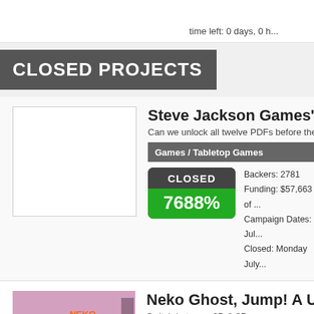time left: 0 days, 0 h...
CLOSED PROJECTS
Steve Jackson Games' GU...
Can we unlock all twelve PDFs before the cl...
Games / Tabletop Games
CLOSED 7688%
Backers: 2781
Funding: $57,663 of ...
Campaign Dates: Jul...
Closed: Monday July...
Neko Ghost, Jump! A Uniqu...
Switch between 2D & 3D camera perspective... faster.
Games / Video Games
CLOSED
Backers: 473...